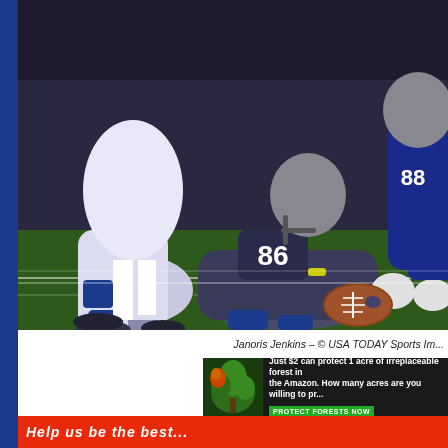[Figure (photo): NFL football game action photo showing players in Dallas Cowboys uniforms (navy and silver) and opposing team in white uniforms scrambling for a fumbled football on a grass field at night]
Janoris Jenkins – © USA TODAY Sports Im...
[Figure (photo): Advertisement banner: 'Just $2 can protect 1 acre of irreplaceable forest in the Amazon. How many acres are you willing to protect?' with a green PROTECT FORESTS NOW button]